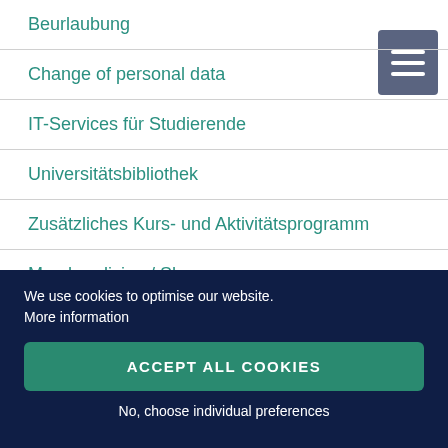Beurlaubung
Change of personal data
IT-Services für Studierende
Universitätsbibliothek
Zusätzliches Kurs- und Aktivitätsprogramm
Merchandising / Shop
We use cookies to optimise our website.
More information
ACCEPT ALL COOKIES
No, choose individual preferences